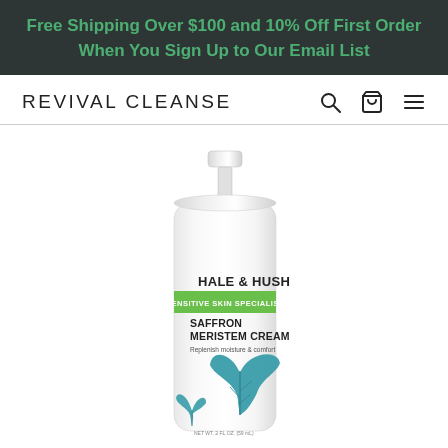Free Shipping Over $100 and 10% Off First Order When You Sign Up to Our Email List
REVIVAL CLEANSE
[Figure (photo): Hale & Hush Saffron Meristem Cream product bottle — white cylindrical pump bottle with green label band reading 'SENSITIVE SKIN SPECIALIST', product name 'SAFFRON MERISTEM CREAM', subtitle 'Replenish moisture & comfort', and teal leaf/feather graphics on lower half.]